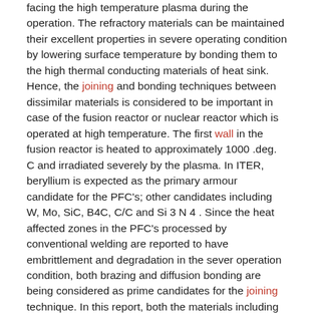facing the high temperature plasma during the operation. The refractory materials can be maintained their excellent properties in severe operating condition by lowering surface temperature by bonding them to the high thermal conducting materials of heat sink. Hence, the joining and bonding techniques between dissimilar materials is considered to be important in case of the fusion reactor or nuclear reactor which is operated at high temperature. The first wall in the fusion reactor is heated to approximately 1000 .deg. C and irradiated severely by the plasma. In ITER, beryllium is expected as the primary armour candidate for the PFC's; other candidates including W, Mo, SiC, B4C, C/C and Si 3 N 4 . Since the heat affected zones in the PFC's processed by conventional welding are reported to have embrittlement and degradation in the sever operation condition, both brazing and diffusion bonding are being considered as prime candidates for the joining technique. In this report, both the materials including ceramics and the fabrication techniques including joining technique between dissimilar materials for PFC's are described. The described joining technique between the refractory materials and the dissimilar materials may be applicable for the fusion reactor and Generation-4 future nuclear reactor which are operated at high temperature and high irradiation.